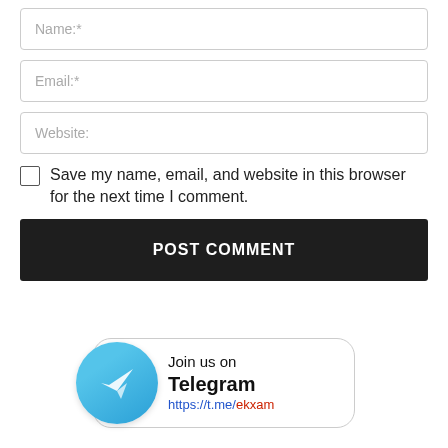Name:*
Email:*
Website:
Save my name, email, and website in this browser for the next time I comment.
POST COMMENT
[Figure (logo): Telegram banner with blue circle icon showing paper plane, text 'Join us on Telegram https://t.me/ekxam']